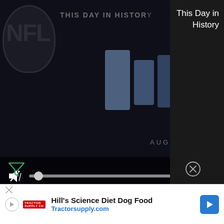[Figure (screenshot): Video player showing 'This Day in History' NFL content. Dark background with NFL logo partially visible, video title overlay, play button icon, August label, video controls bar with mute icon, progress bar with thumb, and fullscreen button. Top-right shows three-dot menu and X close button.]
This Day in History
[Figure (donut-chart): Donut chart showing Origin at 100.0% in blue, with label '100.0%' on the right side and 'Origin' text in the center hole. A small gap segment visible at the bottom-left.]
[Figure (screenshot): Feedback tab on right side in blue with star icon and 'Feedback' text rotated vertically.]
[Figure (other): Filter icon (funnel/triangle shape) at bottom left.]
[Figure (other): Close/X button circle at bottom right of chart area.]
Hill's Science Diet Dog Food Tractorsupply.com